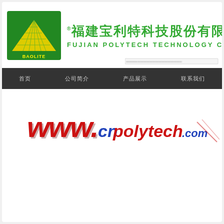[Figure (logo): Baolite company logo - green square with yellow triangle/pyramid and grid pattern, text BAOLITE at bottom]
福建宝利特科技股份有限公司 FUJIAN POLYTECH TECHNOLOGY CORP.LTD
搜索框 (search input boxes row)
[Figure (screenshot): Dark navigation bar with Chinese menu items: 首页, 公司简介, 产品展示, 联系我们]
[Figure (logo): Website URL displayed as styled text: www.cnpolytech.com in red and blue italic font]